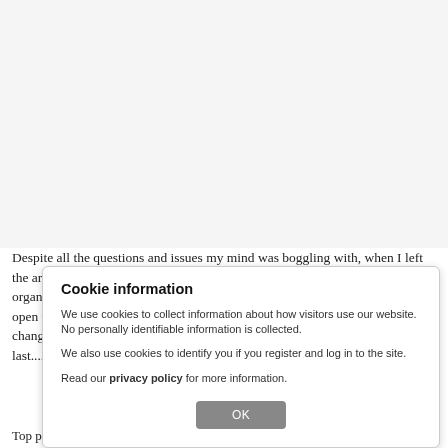[Figure (photo): Large image area at top of page, appears blank/white in this view]
Despite all the questions and issues my mind was boggling with, when I left the arena in Den Bosch, I still felt excited about my visit. The KWPN is an organic organisation always in movement, always trying to improve, always open to new ideas whereas the past has proven that the KWPN is capable to change direction when things don't work out the way they hoped. Long may it last....
Cookie information
We use cookies to collect information about how visitors use our website. No personally identifiable information is collected.
We also use cookies to identify you if you register and log in to the site.
Read our privacy policy for more information.
OK
Top picture: Heraut, accepted by the studbook in 1946